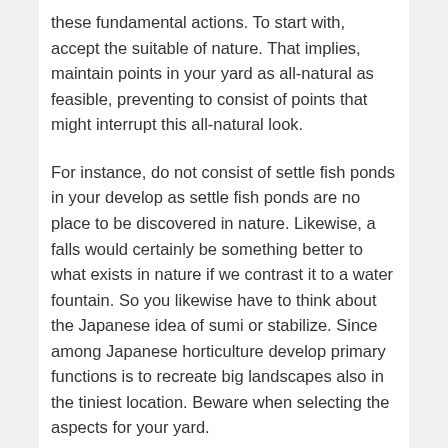these fundamental actions. To start with, accept the suitable of nature. That implies, maintain points in your yard as all-natural as feasible, preventing to consist of points that might interrupt this all-natural look.
For instance, do not consist of settle fish ponds in your develop as settle fish ponds are no place to be discovered in nature. Likewise, a falls would certainly be something better to what exists in nature if we contrast it to a water fountain. So you likewise have to think about the Japanese idea of sumi or stabilize. Since among Japanese horticulture develop primary functions is to recreate big landscapes also in the tiniest location. Beware when selecting the aspects for your yard.